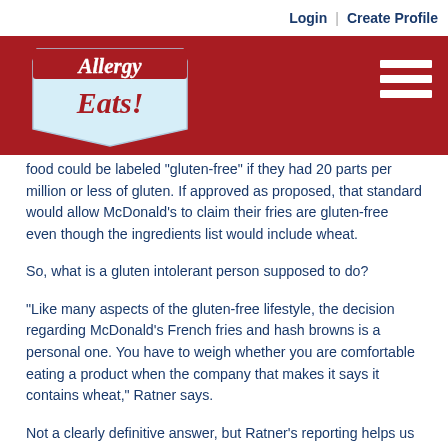[Figure (logo): AllergyEats logo — stylized retro badge with red script text 'Allergy Eats!' on light blue background]
Login | Create Profile
food could be labeled "gluten-free" if they had 20 parts per million or less of gluten. If approved as proposed, that standard would allow McDonald's to claim their fries are gluten-free even though the ingredients list would include wheat.
So, what is a gluten intolerant person supposed to do?
"Like many aspects of the gluten-free lifestyle, the decision regarding McDonald's French fries and hash browns is a personal one. You have to weigh whether you are comfortable eating a product when the company that makes it says it contains wheat," Ratner says.
Not a clearly definitive answer, but Ratner's reporting helps us make a more informed decision.
From Paul: